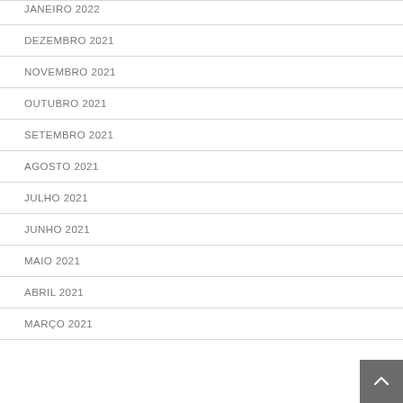JANEIRO 2022
DEZEMBRO 2021
NOVEMBRO 2021
OUTUBRO 2021
SETEMBRO 2021
AGOSTO 2021
JULHO 2021
JUNHO 2021
MAIO 2021
ABRIL 2021
MARÇO 2021